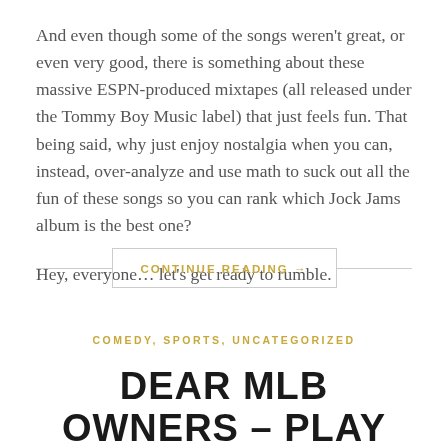And even though some of the songs weren't great, or even very good, there is something about these massive ESPN-produced mixtapes (all released under the Tommy Boy Music label) that just feels fun. That being said, why just enjoy nostalgia when you can, instead, over-analyze and use math to suck out all the fun of these songs so you can rank which Jock Jams album is the best one?

Hey, everyone… let's get ready to rumble.
CONTINUE READING →
COMEDY, SPORTS, UNCATEGORIZED
DEAR MLB OWNERS – PLAY